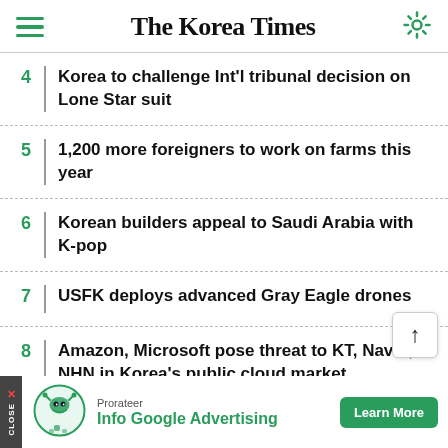The Korea Times
4 | Korea to challenge Int'l tribunal decision on Lone Star suit
5 | 1,200 more foreigners to work on farms this year
6 | Korean builders appeal to Saudi Arabia with K-pop
7 | USFK deploys advanced Gray Eagle drones
8 | Amazon, Microsoft pose threat to KT, Naver, NHN in Korea's public cloud market
[Figure (screenshot): Advertisement banner: Prorateer / Info Google Advertising / Learn More button]
[Figure (other): Scroll-to-top button with upward arrow]